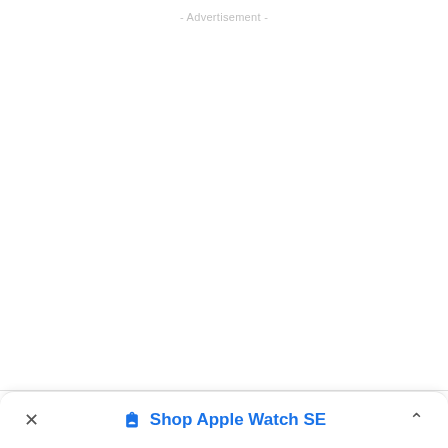- Advertisement -
Shop Apple Watch SE